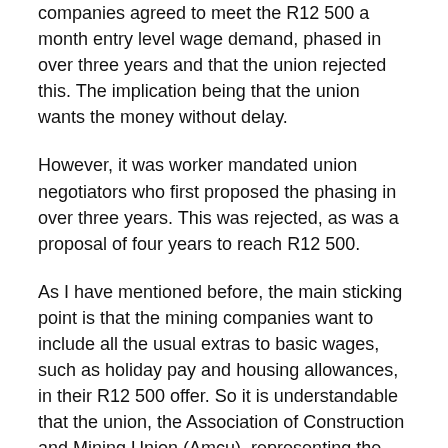companies agreed to meet the R12 500 a month entry level wage demand, phased in over three years and that the union rejected this. The implication being that the union wants the money without delay.
However, it was worker mandated union negotiators who first proposed the phasing in over three years. This was rejected, as was a proposal of four years to reach R12 500.
As I have mentioned before, the main sticking point is that the mining companies want to include all the usual extras to basic wages, such as holiday pay and housing allowances, in their R12 500 offer. So it is understandable that the union, the Association of Construction and Mining Union (Amcu), representing the striking miners, rejects this.